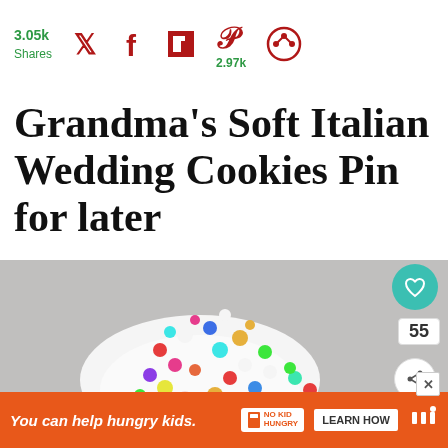3.05k Shares | Twitter | Facebook | Flipboard | Pinterest 2.97k | Share
Grandma's Soft Italian Wedding Cookies Pin for later
[Figure (photo): Close-up photo of Italian wedding cookies piled with white icing and colorful sprinkles/candy beads on a gray background]
55
WHAT'S NEXT → Grandma's Italian...
You can help hungry kids. NO KID HUNGRY  LEARN HOW